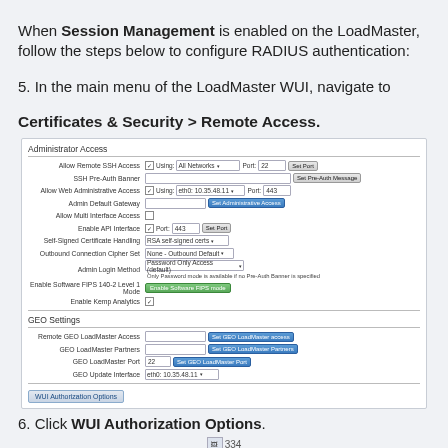When Session Management is enabled on the LoadMaster, follow the steps below to configure RADIUS authentication:
5. In the main menu of the LoadMaster WUI, navigate to Certificates & Security > Remote Access.
[Figure (screenshot): Screenshot of the LoadMaster WUI Remote Access configuration panel showing Administrator Access settings (Allow Remote SSH Access, SSH Pre-Auth Banner, Allow Web Administrative Access, Admin Default Gateway, Allow Multi Interface Access, Enable API Interface, Self-Signed Certificate Handling, Outbound Connection Cipher Set, Admin Login Method, Enable Software FIPS 140-2 Level 1 Mode, Enable Kemp Analytics) and GEO Settings section (Remote GEO LoadMaster Access, GEO LoadMaster Partners, GEO LoadMaster Port, GEO Update Interface), with a WUI Authorization Options button at the bottom.]
6. Click WUI Authorization Options.
334